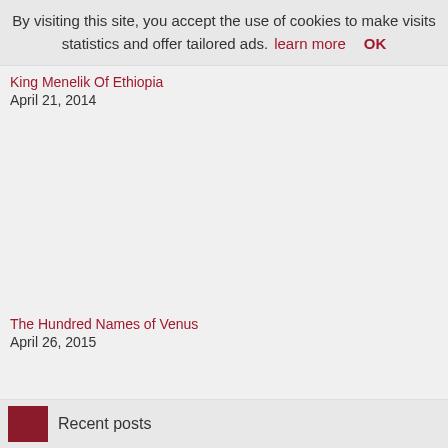By visiting this site, you accept the use of cookies to make visits statistics and offer tailored ads.  learn more   OK
King Menelik Of Ethiopia
April 21, 2014
The Hundred Names of Venus
April 26, 2015
Recent posts